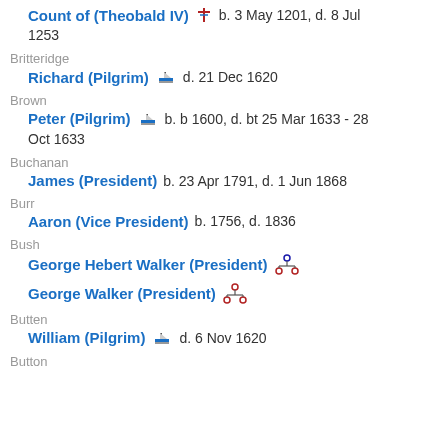Count of (Theobald IV)  b. 3 May 1201, d. 8 Jul 1253
Britteridge
Richard (Pilgrim)  d. 21 Dec 1620
Brown
Peter (Pilgrim)  b. b 1600, d. bt 25 Mar 1633 - 28 Oct 1633
Buchanan
James (President)  b. 23 Apr 1791, d. 1 Jun 1868
Burr
Aaron (Vice President)  b. 1756, d. 1836
Bush
George Hebert Walker (President)
George Walker (President)
Butten
William (Pilgrim)  d. 6 Nov 1620
Button